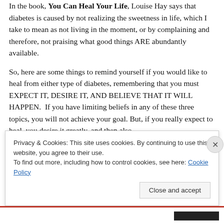In the book, You Can Heal Your Life, Louise Hay says that diabetes is caused by not realizing the sweetness in life, which I take to mean as not living in the moment, or by complaining and therefore, not praising what good things ARE abundantly available.
So, here are some things to remind yourself if you would like to heal from either type of diabetes, remembering that you must EXPECT IT, DESIRE IT, AND BELIEVE THAT IT WILL HAPPEN.  If you have limiting beliefs in any of these three topics, you will not achieve your goal. But, if you really expect to heal, you desire it greatly, and then also
Privacy & Cookies: This site uses cookies. By continuing to use this website, you agree to their use.
To find out more, including how to control cookies, see here: Cookie Policy